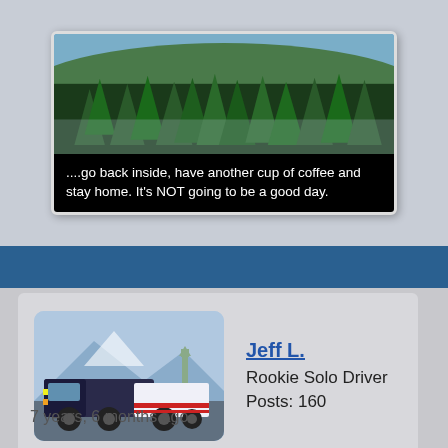[Figure (screenshot): Screenshot of a meme image showing trees with a humorous caption about bad weather days]
....go back inside, have another cup of coffee and stay home. It's NOT going to be a good day.
[Figure (photo): User avatar showing a semi truck on a highway with mountains and Statue of Liberty in background]
Jeff L.
Rookie Solo Driver
Posts: 160
7 years, 6 months ago